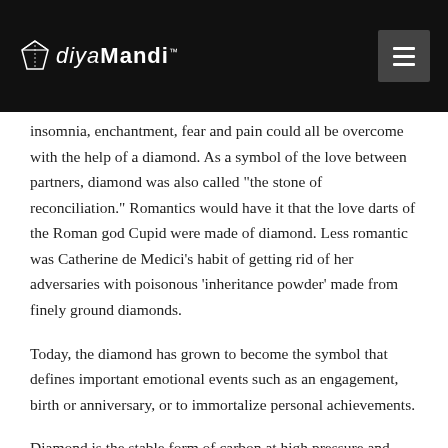diyaMandi
insomnia, enchantment, fear and pain could all be overcome with the help of a diamond. As a symbol of the love between partners, diamond was also called “the stone of reconciliation.” Romantics would have it that the love darts of the Roman god Cupid were made of diamond. Less romantic was Catherine de Medici’s habit of getting rid of her adversaries with poisonous ‘inheritance powder’ made from finely ground diamonds.
Today, the diamond has grown to become the symbol that defines important emotional events such as an engagement, birth or anniversary, or to immortalize personal achievements.
Diamond is the stable form of carbon at high pressure and temperature conditions. At a temperature of 1325°C, a pressure of 50000 kg/cm2 is required to grow diamond. This extreme pressure corresponds to the weight of the Eiffel tower (9441 tons) on your